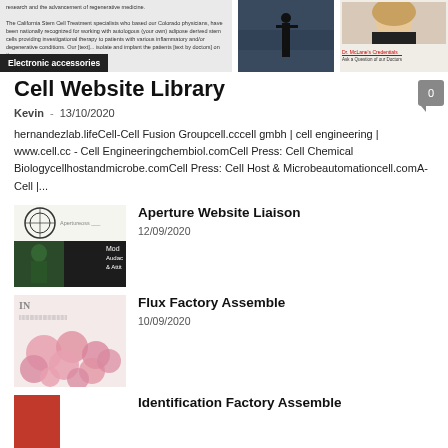[Figure (screenshot): Top banner with small article text, a dark silhouette photo in center, and a doctor profile image on right with name and 'Ask a Question of our Doctors' text. A black badge reading 'Electronic accessories' overlays the left side.]
Cell Website Library
Kevin  -  13/10/2020
hernandezlab.lifeCell-Cell Fusion Groupcell.cccell gmbh | cell engineering | www.cell.cc - Cell Engineeringchembiol.comCell Press: Cell Chemical Biologycellhostandmicrobe.comCell Press: Cell Host & Microbeautomationcell.comA-Cell |...
[Figure (screenshot): Thumbnail for Aperture Website Liaison: top half shows Aperture logo circle, bottom half shows dark fashion magazine image with text 'Mod Audac & Attit']
Aperture Website Liaison
12/09/2020
[Figure (photo): Thumbnail showing pink macarons or roses on a light background, with 'IN' watermark in top left corner]
Flux Factory Assemble
10/09/2020
[Figure (screenshot): Thumbnail showing a red panel on left and white panel on right, partially visible]
Identification Factory Assemble